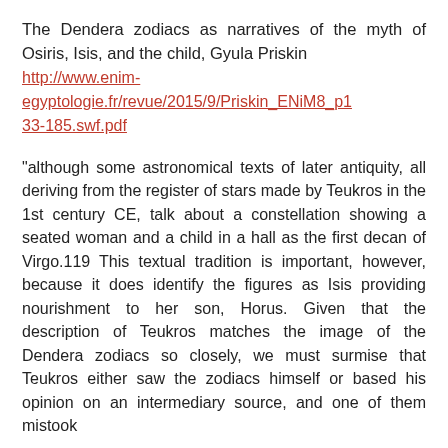The Dendera zodiacs as narratives of the myth of Osiris, Isis, and the child, Gyula Priskin http://www.enim-egyptologie.fr/revue/2015/9/Priskin_ENiM8_p133-185.swf.pdf
“although some astronomical texts of later antiquity, all deriving from the register of stars made by Teukros in the 1st century CE, talk about a constellation showing a seated woman and a child in a hall as the first decan of Virgo.119 This textual tradition is important, however, because it does identify the figures as Isis providing nourishment to her son, Horus. Given that the description of Teukros matches the image of the Dendera zodiacs so closely, we must surmise that Teukros either saw the zodiacs himself or based his opinion on an intermediary source, and one of them mistook